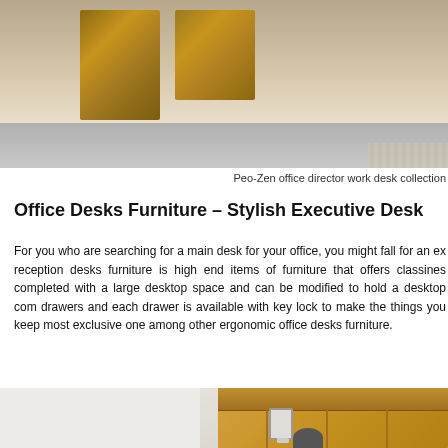[Figure (photo): Top portion of Peo-Zen office director work desk collection showing wooden desk blocks and metallic surface]
Peo-Zen office director work desk collection
Office Desks Furniture – Stylish Executive Desk
For you who are searching for a main desk for your office, you might fall for an ex... reception desks furniture is high end items of furniture that offers classines... completed with a large desktop space and can be modified to hold a desktop com... drawers and each drawer is available with key lock to make the things you keep... most exclusive one among other ergonomic office desks furniture.
[Figure (photo): Bottom portion showing office furniture with wooden hutch, cabinets, shelves, and a monitor on a desk]